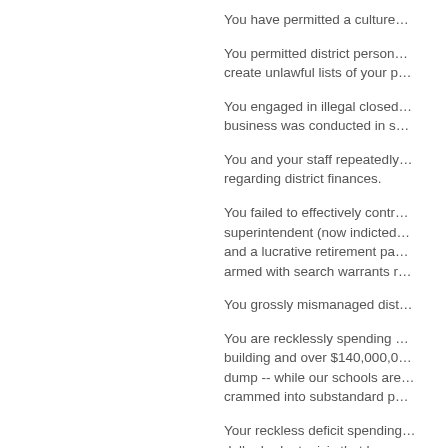You have permitted a culture…
You permitted district person… create unlawful lists of your p…
You engaged in illegal closed… business was conducted in s…
You and your staff repeatedly… regarding district finances.
You failed to effectively contr… superintendent (now indicted… and a lucrative retirement pa… armed with search warrants r…
You grossly mismanaged dist…
You are recklessly spending … building and over $140,000,0… dump -- while our schools are… crammed into substandard p…
Your reckless deficit spending… dollar budget crisis that has p… massive program cutbacks –…